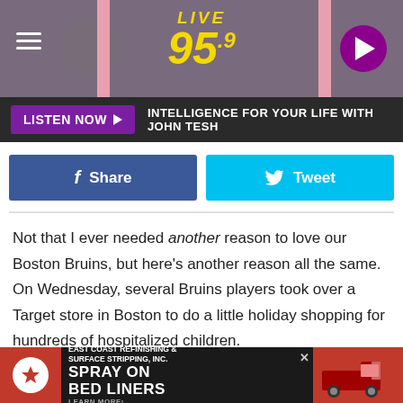[Figure (screenshot): Live 95.9 radio station header with logo, hamburger menu, and play button on mauve/purple background with pink accent bars]
LISTEN NOW ▶  INTELLIGENCE FOR YOUR LIFE WITH JOHN TESH
[Figure (infographic): Facebook Share button (blue) and Twitter Tweet button (cyan)]
Not that I ever needed another reason to love our Boston Bruins, but here's another reason all the same. On Wednesday, several Bruins players took over a Target store in Boston to do a little holiday shopping for hundreds of hospitalized children.
According to the Boston Bruin's Facebook page, Santa Pasta, jolly old Saint Bergeron, and many of their teammates are
[Figure (screenshot): Advertisement: East Coast Refinishing & Surface Stripping, Inc. - SPRAY ON BED LINERS]